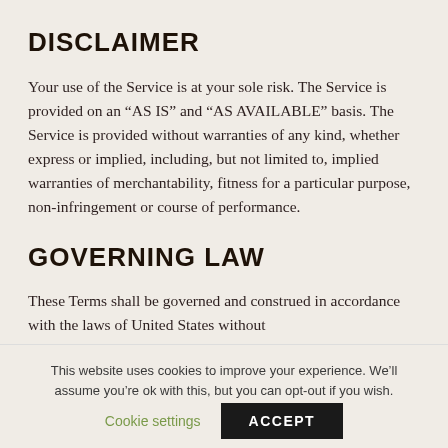DISCLAIMER
Your use of the Service is at your sole risk. The Service is provided on an “AS IS” and “AS AVAILABLE” basis. The Service is provided without warranties of any kind, whether express or implied, including, but not limited to, implied warranties of merchantability, fitness for a particular purpose, non-infringement or course of performance.
GOVERNING LAW
These Terms shall be governed and construed in accordance with the laws of United States without
This website uses cookies to improve your experience. We’ll assume you’re ok with this, but you can opt-out if you wish.
Cookie settings   ACCEPT